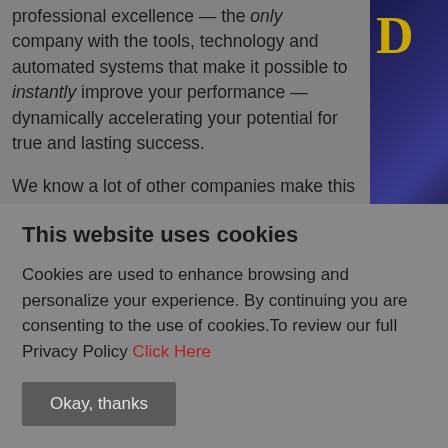professional excellence — the only company with the tools, technology and automated systems that make it possible to instantly improve your performance — dynamically accelerating your potential for true and lasting success.
We know a lot of other companies make this claim, but we have the means to actually deliver. In fact, we unconditionally guarantee it.
With over 25 years of experience, we have the resources to do something that others can only promise: Train you to immediately produce greater
[Figure (illustration): Partial view of a dark book cover with gold letter visible on the right side of the page]
This website uses cookies
Cookies are used to enhance browsing and personalize your experience. By continuing you are consenting to the use of cookies.To review our full Privacy Policy Click Here
Okay, thanks